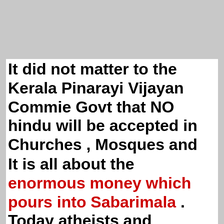It did not matter to the Kerala Pinarayi Vijayan Commie Govt that NO hindu will be accepted in Churches , Mosques and Fire temples .
It is all about the enormous money which pours into Sabarimala . Today atheists and Christians with Hindu names